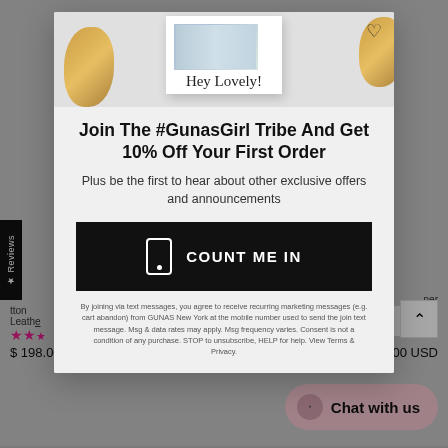[Figure (screenshot): E-commerce popup modal on GUNAS New York website. Shows a promotional overlay with a polaroid-style card saying 'Hey Lovely!', a headline about joining the #GunasGirl Tribe for 10% off, a COUNT ME IN CTA button, fine print about SMS marketing, and background product page content.]
Join The #GunasGirl Tribe And Get 10% Off Your First Order
Plus be the first to hear about other exclusive offers and announcements
COUNT ME IN
By joining via text messages, you agree to receive recurring marketing messages (e.g. cart abandon) from GUNAS New York at the mobile number used to send the join text message. Msg & data rates may apply. Msg frequency varies. Consent is not a condition of any purchase. STOP to unsubscribe, HELP for help. View Terms & Privacy.
$ 198.00 USD
$ 198.00 USD
Chat with us